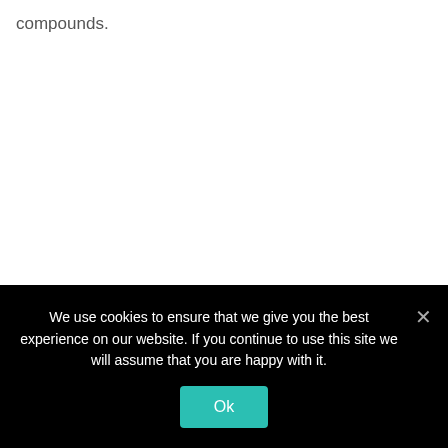compounds.
We use cookies to ensure that we give you the best experience on our website. If you continue to use this site we will assume that you are happy with it.